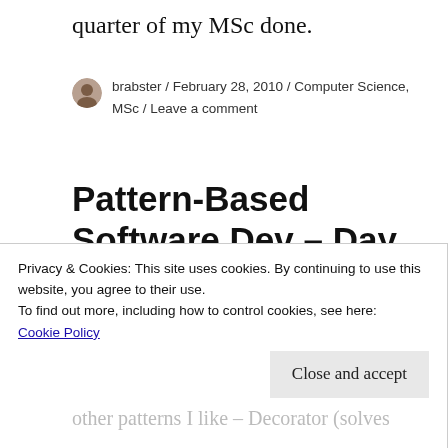quarter of my MSc done.
brabster / February 28, 2010 / Computer Science, MSc / Leave a comment
Pattern-Based Software Dev – Day 3
Today was hand-in day for the first part of this module's coursework – to design a shop, based
Privacy & Cookies: This site uses cookies. By continuing to use this website, you agree to their use.
To find out more, including how to control cookies, see here:
Cookie Policy
Close and accept
other patterns I like – Decorator (solves